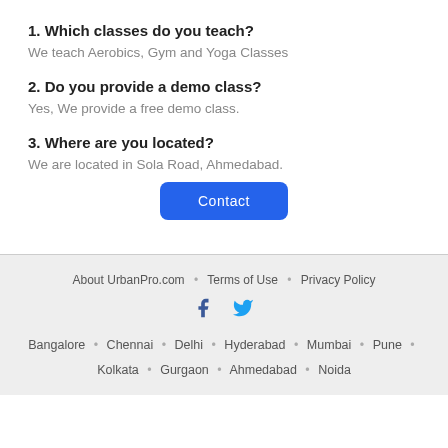1. Which classes do you teach?
We teach Aerobics, Gym and Yoga Classes
2. Do you provide a demo class?
Yes, We provide a free demo class.
3. Where are you located?
We are located in Sola Road, Ahmedabad.
Contact
About UrbanPro.com • Terms of Use • Privacy Policy
Bangalore • Chennai • Delhi • Hyderabad • Mumbai • Pune • Kolkata • Gurgaon • Ahmedabad • Noida